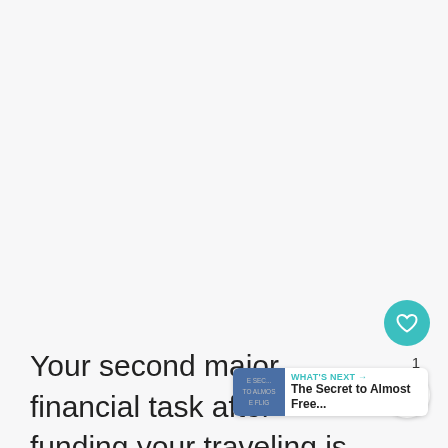[Figure (other): Blank light gray area occupying upper portion of the page]
Your second major financial task after funding your traveling is realizing what you don't need to keep paying in your absence,
[Figure (other): WHAT'S NEXT badge with circular image showing 'The Secret to Almost Free...' article preview]